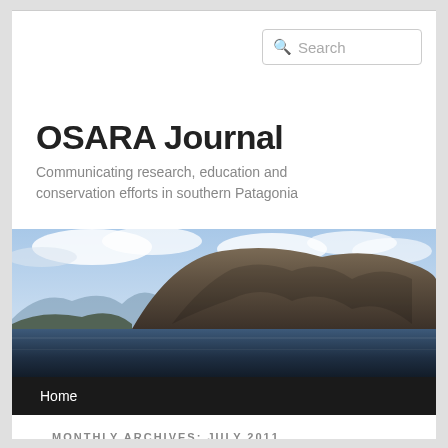Search
OSARA Journal
Communicating research, education and conservation efforts in southern Patagonia
[Figure (photo): Landscape photograph of a rocky mountain island rising from dark blue water, with blue sky and clouds in the background — Patagonia scenery]
Home
MONTHLY ARCHIVES: JULY 2011